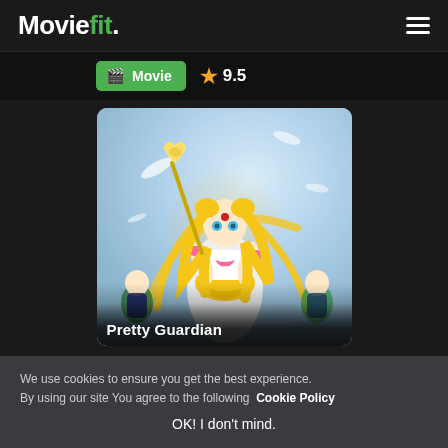Moviefit.
Movie  ★ 9.5
[Figure (illustration): Anime poster for 'Pretty Guardian' featuring Sailor Moon character in white outfit holding a golden scepter, with other Sailor Guardians in background, light blue sky with feathers]
Pretty Guardian
We use cookies to ensure you get the best experience.
By using our site You agree to the following  Cookie Policy
OK! I don't mind.